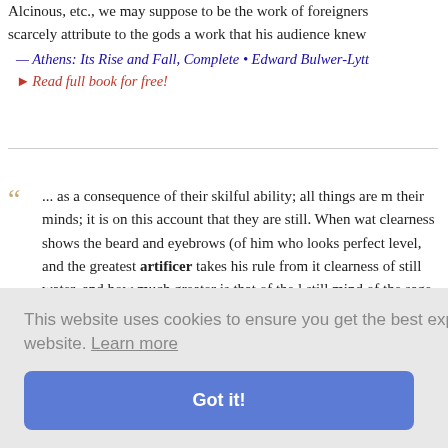Alcinous, etc., we may suppose to be the work of foreigners scarcely attribute to the gods a work that his audience knew
— Athens: Its Rise and Fall, Complete • Edward Bulwer-Lytt
▸ Read full book for free!
"... as a consequence of their skilful ability; all things are n their minds; it is on this account that they are still. When wa clearness shows the beard and eyebrows (of him who looks perfect level, and the greatest artificer takes his rule from it clearness of still water, and how much greater is that of the still mind of the sage is the mirror of heaven and earth, ..."
— The Religion of the Samurai • Kaiten Nukariya
▸ Read full book for free!
This website uses cookies to ensure you get the best experience on our website. Learn more
Got it!
oot and the d that men l as the art d Dalberg-